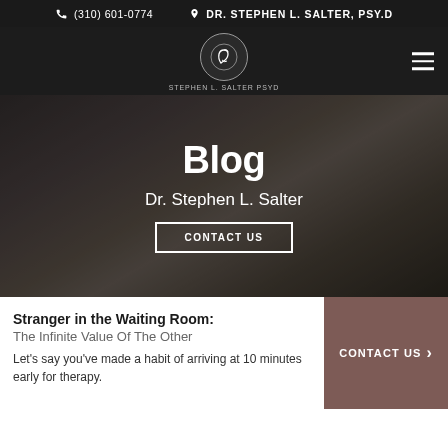(310) 601-0774  DR. STEPHEN L. SALTER, PSY.D
[Figure (logo): Circular logo for Stephen L. Salter PsyD with stylized drop/letter motif and text STEPHEN L. SALTER PSYD below]
Blog
Dr. Stephen L. Salter
CONTACT US
Stranger in the Waiting Room:
The Infinite Value Of The Other
Let's say you've made a habit of arriving at 10 minutes early for therapy.